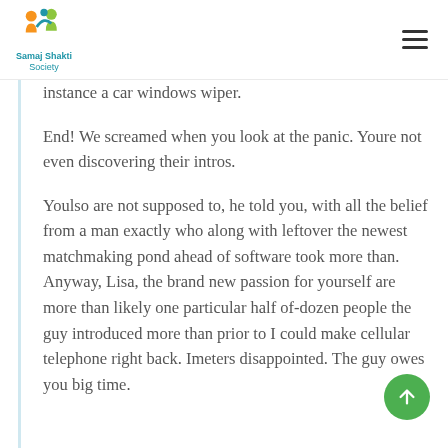Samaj Shakti Society
instance a car windows wiper.
End! We screamed when you look at the panic. Youre not even discovering their intros.
Youlso are not supposed to, he told you, with all the belief from a man exactly who along with leftover the newest matchmaking pond ahead of software took more than. Anyway, Lisa, the brand new passion for yourself are more than likely one particular half of-dozen people the guy introduced more than prior to I could make cellular telephone right back. Imeters disappointed. The guy owes you big time.